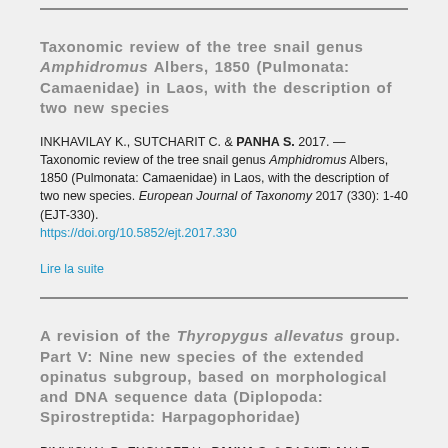Taxonomic review of the tree snail genus Amphidromus Albers, 1850 (Pulmonata: Camaenidae) in Laos, with the description of two new species
INKHAVILAY K., SUTCHARIT C. & PANHA S. 2017. — Taxonomic review of the tree snail genus Amphidromus Albers, 1850 (Pulmonata: Camaenidae) in Laos, with the description of two new species. European Journal of Taxonomy 2017 (330): 1-40 (EJT-330). https://doi.org/10.5852/ejt.2017.330
Lire la suite
A revision of the Thyropygus allevatus group. Part V: Nine new species of the extended opinatus subgroup, based on morphological and DNA sequence data (Diplopoda: Spirostreptida: Harpagophoridae)
PIMVICHAL P., ENGHOFF H., PANHA S. & BACKELJAU T.